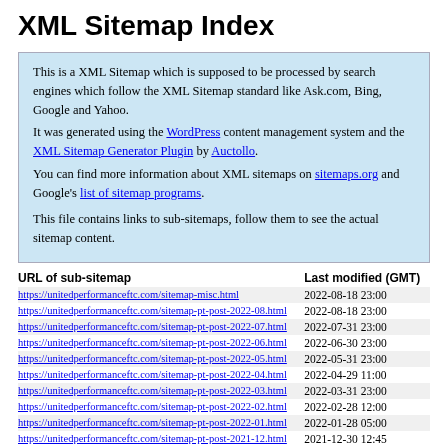XML Sitemap Index
This is a XML Sitemap which is supposed to be processed by search engines which follow the XML Sitemap standard like Ask.com, Bing, Google and Yahoo.
It was generated using the WordPress content management system and the XML Sitemap Generator Plugin by Auctollo.
You can find more information about XML sitemaps on sitemaps.org and Google's list of sitemap programs.

This file contains links to sub-sitemaps, follow them to see the actual sitemap content.
| URL of sub-sitemap | Last modified (GMT) |
| --- | --- |
| https://unitedperformanceftc.com/sitemap-misc.html | 2022-08-18 23:00 |
| https://unitedperformanceftc.com/sitemap-pt-post-2022-08.html | 2022-08-18 23:00 |
| https://unitedperformanceftc.com/sitemap-pt-post-2022-07.html | 2022-07-31 23:00 |
| https://unitedperformanceftc.com/sitemap-pt-post-2022-06.html | 2022-06-30 23:00 |
| https://unitedperformanceftc.com/sitemap-pt-post-2022-05.html | 2022-05-31 23:00 |
| https://unitedperformanceftc.com/sitemap-pt-post-2022-04.html | 2022-04-29 11:00 |
| https://unitedperformanceftc.com/sitemap-pt-post-2022-03.html | 2022-03-31 23:00 |
| https://unitedperformanceftc.com/sitemap-pt-post-2022-02.html | 2022-02-28 12:00 |
| https://unitedperformanceftc.com/sitemap-pt-post-2022-01.html | 2022-01-28 05:00 |
| https://unitedperformanceftc.com/sitemap-pt-post-2021-12.html | 2021-12-30 12:45 |